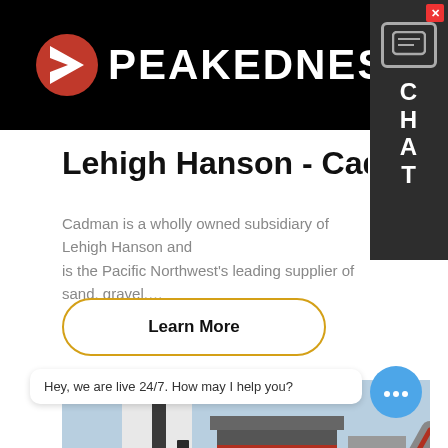[Figure (logo): Peakedness logo - red arrow/P icon with white text PEAKEDNESS on black background]
[Figure (infographic): Chat widget sidebar with close button, chat icon, and letters C H A T on dark background]
Lehigh Hanson - Cadman Concrete
Cadman is a wholly owned subsidiary of Lehigh Hanson and is the Pacific Northwest's leading supplier of sand, gravel,…
Learn More
[Figure (photo): Industrial concrete plant / quarry facility with silos, conveyor belts, steel structures against blue sky]
Hey, we are live 24/7. How may I help you?